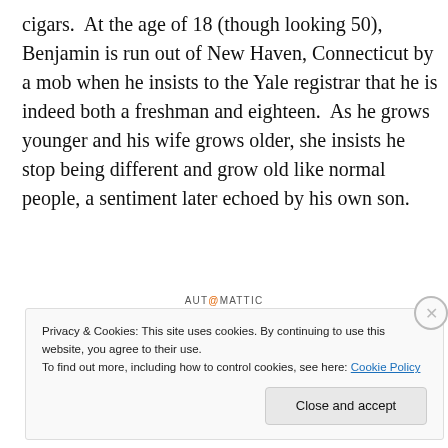cigars.  At the age of 18 (though looking 50), Benjamin is run out of New Haven, Connecticut by a mob when he insists to the Yale registrar that he is indeed both a freshman and eighteen.  As he grows younger and his wife grows older, she insists he stop being different and grow old like normal people, a sentiment later echoed by his own son.
[Figure (other): Automattic advertisement: logo text 'AUT@MATTIC' and tagline 'Build a better web and a better world.']
REPORT THIS AD
Privacy & Cookies: This site uses cookies. By continuing to use this website, you agree to their use.
To find out more, including how to control cookies, see here: Cookie Policy
Close and accept